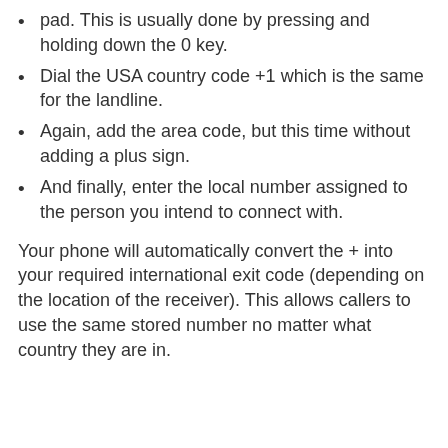pad. This is usually done by pressing and holding down the 0 key.
Dial the USA country code +1 which is the same for the landline.
Again, add the area code, but this time without adding a plus sign.
And finally, enter the local number assigned to the person you intend to connect with.
Your phone will automatically convert the + into your required international exit code (depending on the location of the receiver). This allows callers to use the same stored number no matter what country they are in.